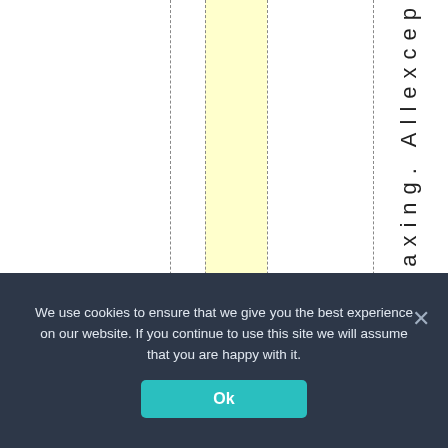[Figure (other): Table or spreadsheet grid with vertical dashed column lines and one yellow highlighted column. Partial rotated text reading 'entaxing. Allexcep' visible on the right edge.]
We use cookies to ensure that we give you the best experience on our website. If you continue to use this site we will assume that you are happy with it.
Ok